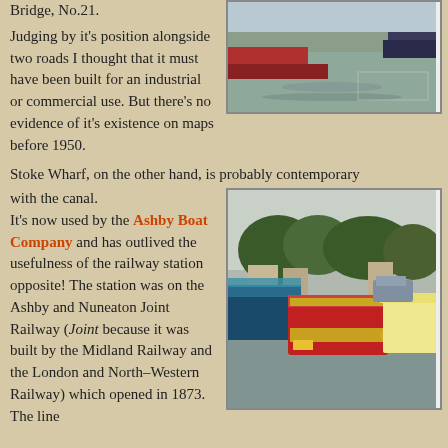[Figure (photo): View from a narrowboat looking forward on a muddy canal, with another boat visible alongside, taken at Bridge No.21]
Bridge, No.21.
Judging by it's position alongside two roads I thought that it must have been built for an industrial or commercial use. But there's no evidence of it's existence on maps before 1950.

Stoke Wharf, on the other hand, is probably contemporary
[Figure (photo): View from a narrowboat at Stoke Wharf showing red narrowboats moored along the canal with trees and buildings in the background]
with the canal.
It's now used by the Ashby Boat Company and has outlived the usefulness of the railway station opposite! The station was on the Ashby and Nuneaton Joint Railway (Joint because it was built by the Midland Railway and the London and North–Western Railway) which opened in 1873. The line